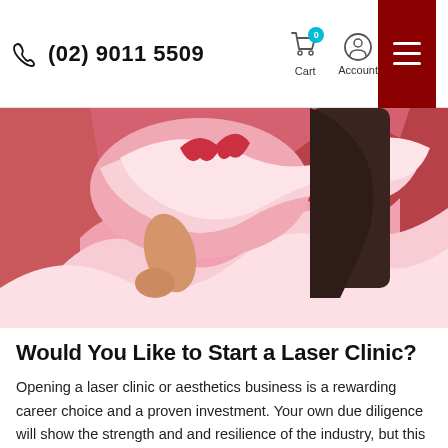(02) 9011 5509 | Cart | Account
[Figure (photo): Woman in pink ruffled dress against a red/pink background, viewed from behind/side]
Would You Like to Start a Laser Clinic?
Opening a laser clinic or aesthetics business is a rewarding career choice and a proven investment. Your own due diligence will show the strength and and resilience of the industry, but this isn’t for everyone. Those who succeed in our industry tend to focus on a primary treatment that is